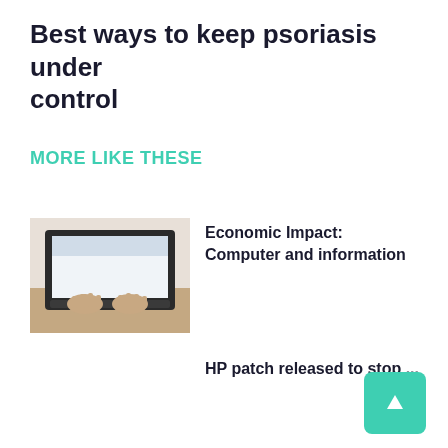Best ways to keep psoriasis under control
MORE LIKE THESE
[Figure (photo): Hands typing on a laptop keyboard, close-up]
Economic Impact: Computer and information
HP patch released to stop ...
[Figure (photo): Classroom with desks and chairs, school setting]
Equality Foundation takes computer study ...